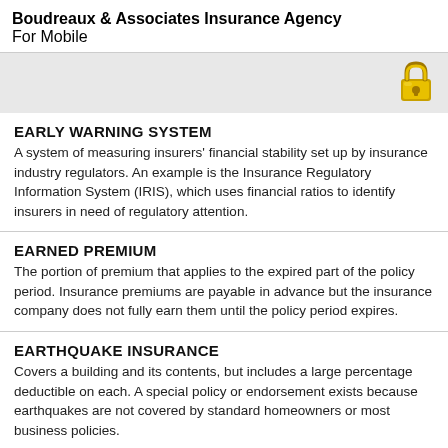Boudreaux & Associates Insurance Agency
For Mobile
[Figure (illustration): Gray bar with a gold padlock icon in the top-right corner]
EARLY WARNING SYSTEM
A system of measuring insurers' financial stability set up by insurance industry regulators. An example is the Insurance Regulatory Information System (IRIS), which uses financial ratios to identify insurers in need of regulatory attention.
EARNED PREMIUM
The portion of premium that applies to the expired part of the policy period. Insurance premiums are payable in advance but the insurance company does not fully earn them until the policy period expires.
EARTHQUAKE INSURANCE
Covers a building and its contents, but includes a large percentage deductible on each. A special policy or endorsement exists because earthquakes are not covered by standard homeowners or most business policies.
Coverages and benefits listed above may be available at an additional charge, talk to us today to find out more.
ECONOMIC LOSS
Total financial loss resulting from the death or disability of a wage...